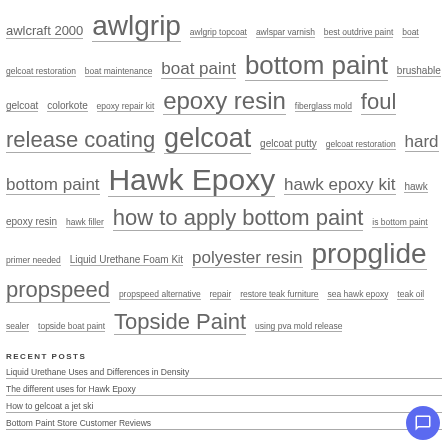[Figure (other): Tag cloud of marine/boat painting related keywords in varying font sizes, all shown as hyperlinks in gray]
RECENT POSTS
Liquid Urethane Uses and Differences in Density
The different uses for Hawk Epoxy
How to gelcoat a jet ski
Bottom Paint Store Customer Reviews